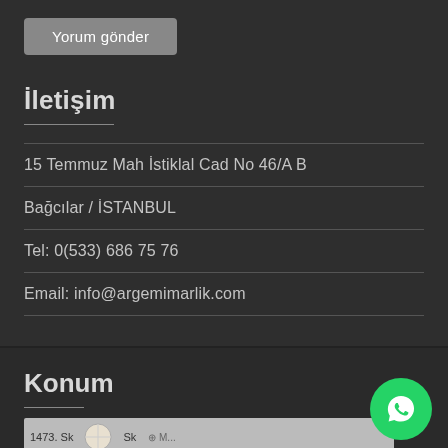Yorum gönder
İletişim
15 Temmuz Mah İstiklal Cad No 46/A B
Bağcılar / İSTANBUL
Tel: 0(533) 686 75 76
Email: info@argemimarlik.com
Konum
[Figure (map): Map snippet showing street view near 1473. Sk area]